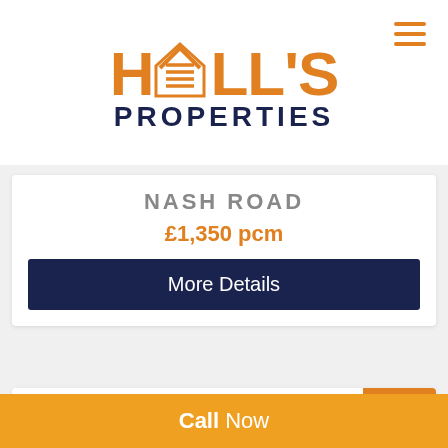[Figure (logo): Hall's Properties logo with house icon in orange and PROPERTIES in dark navy]
NASH ROAD
£1,350 pcm
More Details
LET
Call Now